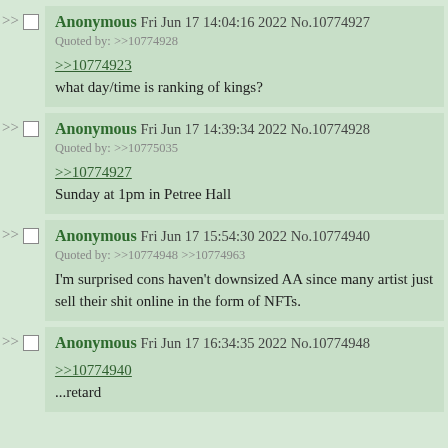Anonymous Fri Jun 17 14:04:16 2022 No.10774927
Quoted by: >>10774928
>>10774923
what day/time is ranking of kings?
Anonymous Fri Jun 17 14:39:34 2022 No.10774928
Quoted by: >>10775035
>>10774927
Sunday at 1pm in Petree Hall
Anonymous Fri Jun 17 15:54:30 2022 No.10774940
Quoted by: >>10774948 >>10774963
I'm surprised cons haven't downsized AA since many artist just sell their shit online in the form of NFTs.
Anonymous Fri Jun 17 16:34:35 2022 No.10774948
>>10774940
...retard